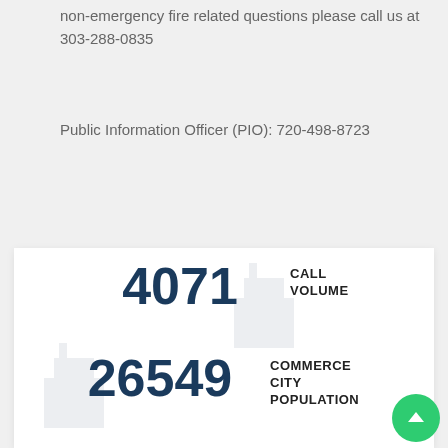non-emergency fire related questions please call us at 303-288-0835
Public Information Officer (PIO): 720-498-8723
4071 CALL VOLUME
26549 COMMERCE CITY POPULATION